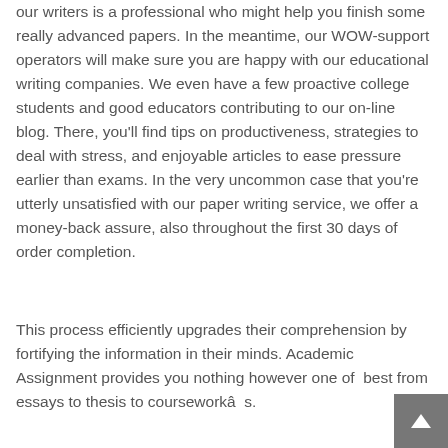our writers is a professional who might help you finish some really advanced papers. In the meantime, our WOW-support operators will make sure you are happy with our educational writing companies. We even have a few proactive college students and good educators contributing to our on-line blog. There, you'll find tips on productiveness, strategies to deal with stress, and enjoyable articles to ease pressure earlier than exams. In the very uncommon case that you're utterly unsatisfied with our paper writing service, we offer a money-back assure, also throughout the first 30 days of order completion.
This process efficiently upgrades their comprehension by fortifying the information in their minds. Academic Assignment provides you nothing however one of best from essays to thesis to courseworkâ s.